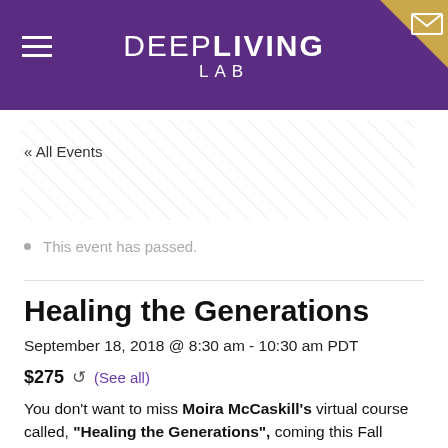DEEPLIVING LAB
« All Events
This event has passed.
Healing the Generations
September 18, 2018 @ 8:30 am - 10:30 am PDT
$275  ↺ (See all)
You don't want to miss Moira McCaskill's virtual course called, "Healing the Generations", coming this Fall 2018.